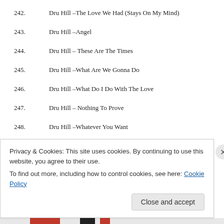242.    Dru Hill –The Love We Had (Stays On My Mind)
243.    Dru Hill –Angel
244.    Dru Hill – These Are The Times
245.    Dru Hill –What Are We Gonna Do
246.    Dru Hill –What Do I Do With The Love
247.    Dru Hill – Nothing To Prove
248.    Dru Hill –Whatever You Want
Privacy & Cookies: This site uses cookies. By continuing to use this website, you agree to their use. To find out more, including how to control cookies, see here: Cookie Policy